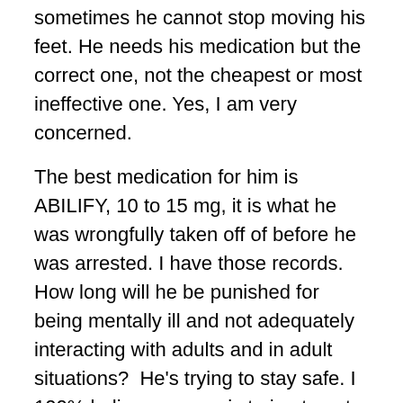sometimes he cannot stop moving his feet. He needs his medication but the correct one, not the cheapest or most ineffective one. Yes, I am very concerned.
The best medication for him is ABILIFY, 10 to 15 mg, it is what he was wrongfully taken off of before he was arrested. I have those records. How long will he be punished for being mentally ill and not adequately interacting with adults and in adult situations?  He's trying to stay safe. I 100% believe my son is trying to get away from what he perceives as a threatening situation.  Maybe they are understaffed, need more training, or are overworked… maybe all of the above. There are at least two or three adults living in the same small confined room or cell. Overcrowding in U.S. Prisons is alarming, as is abuse and deaths by suicide. A Prison Lieutenant told me he believed Bryce was trying to get away from whatever